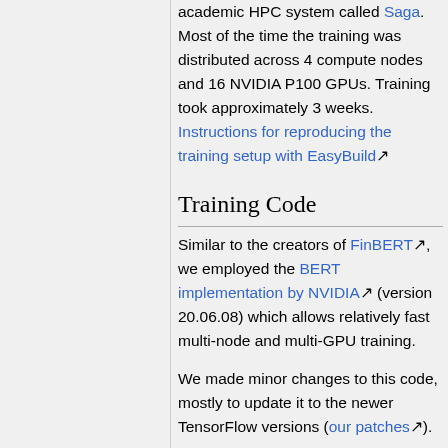academic HPC system called Saga. Most of the time the training was distributed across 4 compute nodes and 16 NVIDIA P100 GPUs. Training took approximately 3 weeks. Instructions for reproducing the training setup with EasyBuild.
Training Code
Similar to the creators of FinBERT, we employed the BERT implementation by NVIDIA (version 20.06.08) which allows relatively fast multi-node and multi-GPU training.
We made minor changes to this code, mostly to update it to the newer TensorFlow versions (our patches).
All the utils we used at the preprocessing and training are published in our Github